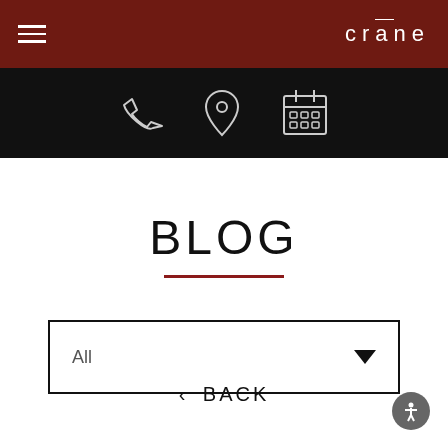crane
[Figure (screenshot): Icon bar with phone, location pin, and calendar icons on black background]
BLOG
All (dropdown selector)
< BACK